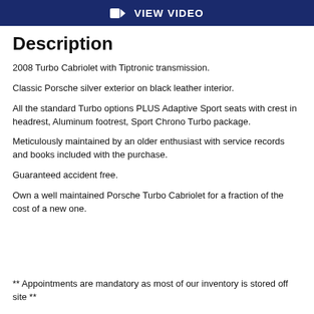[Figure (other): Dark navy blue banner button with video camera icon and text 'VIEW VIDEO']
Description
2008 Turbo Cabriolet with Tiptronic transmission.
Classic Porsche silver exterior on black leather interior.
All the standard Turbo options PLUS Adaptive Sport seats with crest in headrest, Aluminum footrest, Sport Chrono Turbo package.
Meticulously maintained by an older enthusiast with service records and books included with the purchase.
Guaranteed accident free.
Own a well maintained Porsche Turbo Cabriolet for a fraction of the cost of a new one.
** Appointments are mandatory as most of our inventory is stored off site **